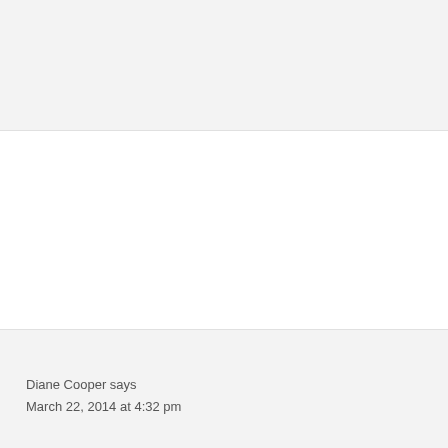Diane Cooper says
March 22, 2014 at 4:32 pm